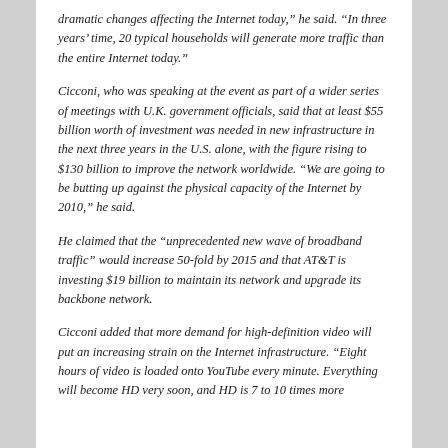dramatic changes affecting the Internet today," he said. "In three years' time, 20 typical households will generate more traffic than the entire Internet today."
Cicconi, who was speaking at the event as part of a wider series of meetings with U.K. government officials, said that at least $55 billion worth of investment was needed in new infrastructure in the next three years in the U.S. alone, with the figure rising to $130 billion to improve the network worldwide. "We are going to be butting up against the physical capacity of the Internet by 2010," he said.
He claimed that the “unprecedented new wave of broadband traffic” would increase 50-fold by 2015 and that AT&T is investing $19 billion to maintain its network and upgrade its backbone network.
Cicconi added that more demand for high-definition video will put an increasing strain on the Internet infrastructure. “Eight hours of video is loaded onto YouTube every minute. Everything will become HD very soon, and HD is 7 to 10 times more